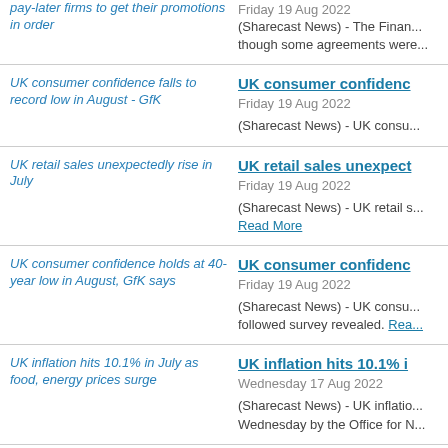pay-later firms to get their promotions in order | Friday 19 Aug 2022 | (Sharecast News) - The Finan... though some agreements were...
UK consumer confidence falls to record low in August - GfK | Friday 19 Aug 2022 | (Sharecast News) - UK consu...
UK retail sales unexpectedly rise in July | Friday 19 Aug 2022 | (Sharecast News) - UK retail s... Read More
UK consumer confidence holds at 40-year low in August, GfK says | Friday 19 Aug 2022 | (Sharecast News) - UK consu... followed survey revealed. Read More
UK inflation hits 10.1% in July as food, energy prices surge | Wednesday 17 Aug 2022 | (Sharecast News) - UK inflatio... Wednesday by the Office for N...